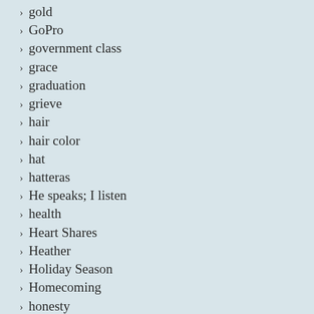gold
GoPro
government class
grace
graduation
grieve
hair
hair color
hat
hatteras
He speaks; I listen
health
Heart Shares
Heather
Holiday Season
Homecoming
honesty